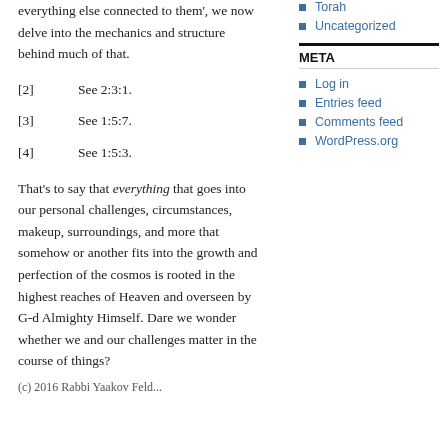everything else connected to them', we now delve into the mechanics and structure behind much of that.
[2]   See 2:3:1.
[3]   See 1:5:7.
[4]   See 1:5:3.
That's to say that everything that goes into our personal challenges, circumstances, makeup, surroundings, and more that somehow or another fits into the growth and perfection of the cosmos is rooted in the highest reaches of Heaven and overseen by G-d Almighty Himself. Dare we wonder whether we and our challenges matter in the course of things?
(c) 2016 Rabbi Yaakov Feld...
Torah
Uncategorized
META
Log in
Entries feed
Comments feed
WordPress.org